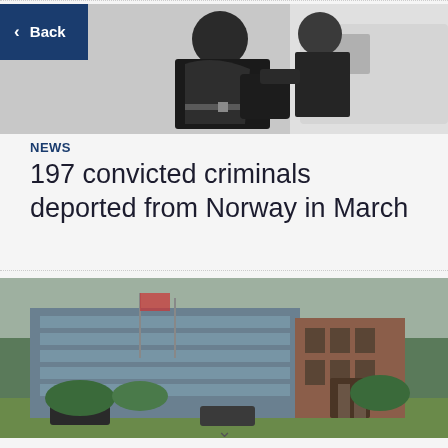[Figure (photo): Police officers loading a person into a vehicle, deportation scene]
< Back
NEWS
197 convicted criminals deported from Norway in March
[Figure (photo): Modern government or police building exterior, brick and glass architecture]